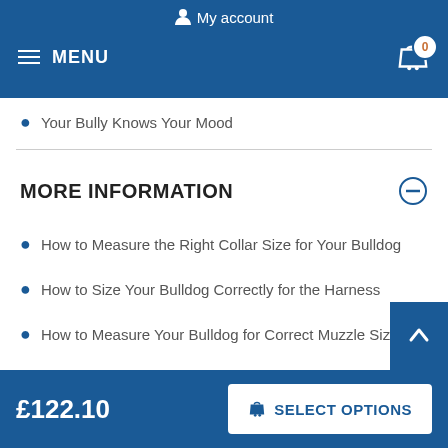My account
MENU
Your Bully Knows Your Mood
MORE INFORMATION
How to Measure the Right Collar Size for Your Bulldog
How to Size Your Bulldog Correctly for the Harness
How to Measure Your Bulldog for Correct Muzzle Size
£122.10  SELECT OPTIONS